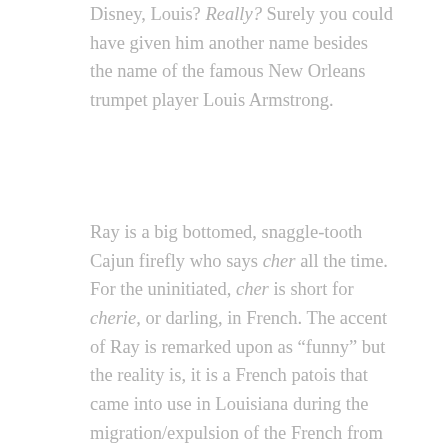Disney, Louis? Really? Surely you could have given him another name besides the name of the famous New Orleans trumpet player Louis Armstrong.
Ray is a big bottomed, snaggle-tooth Cajun firefly who says cher all the time. For the uninitiated, cher is short for cherie, or darling, in French. The accent of Ray is remarked upon as “funny” but the reality is, it is a French patois that came into use in Louisiana during the migration/expulsion of the French from Canada. Lebouef, the real name of Charlotte, is one of the original families that migrated from French Canada. The worst is, the legendary Evangeline is reduced from a beautiful poem by Longfellow, (which may have antecedents in a historical love story) to a star that Ray...